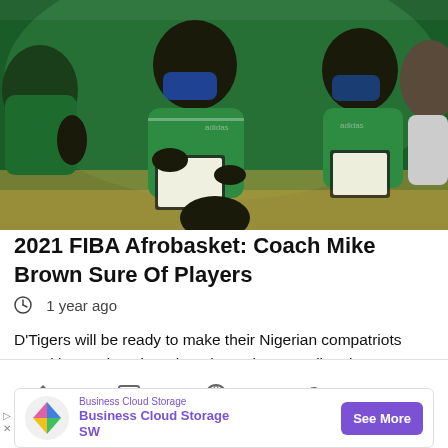[Figure (photo): Several men in green Adidas polo shirts and face masks huddled together on a basketball court, appearing to be coaches reviewing a clipboard/playbook during a timeout or practice session.]
2021 FIBA Afrobasket: Coach Mike Brown Sure Of Players
1 year ago
D'Tigers will be ready to make their Nigerian compatriots proud by Wednesday when they take on Mali at the 2021 FIBA Afrobas…
[Figure (screenshot): Advertisement banner: Business Cloud Storage SW with See More button in purple]
Home   News   Sports   Business   More